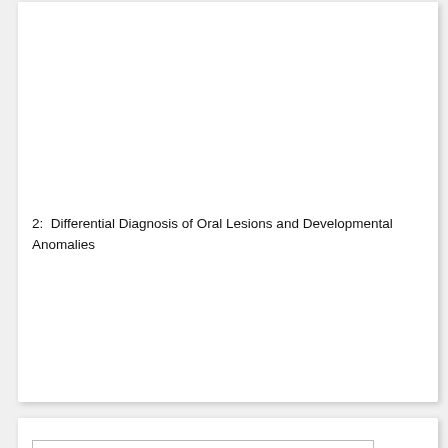[Figure (photo): Image area (partially visible/blank) for chapter 2 card showing oral lesions content]
2: Differential Diagnosis of Oral Lesions and Developmental Anomalies
[Figure (photo): Broken/placeholder image thumbnail at top of second card, chapter 17]
17: Childhood lesions and...